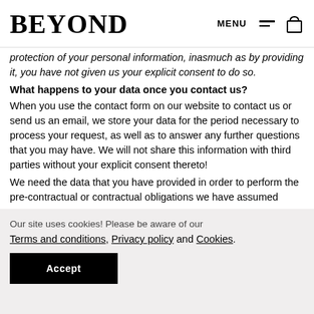BEYOND
protection of your personal information, inasmuch as by providing it, you have not given us your explicit consent to do so.
What happens to your data once you contact us?
When you use the contact form on our website to contact us or send us an email, we store your data for the period necessary to process your request, as well as to answer any further questions that you may have. We will not share this information with third parties without your explicit consent thereto!
We need the data that you have provided in order to perform the pre-contractual or contractual obligations we have assumed
Our site uses cookies! Please be aware of our Terms and conditions, Privacy policy and Cookies.
Accept